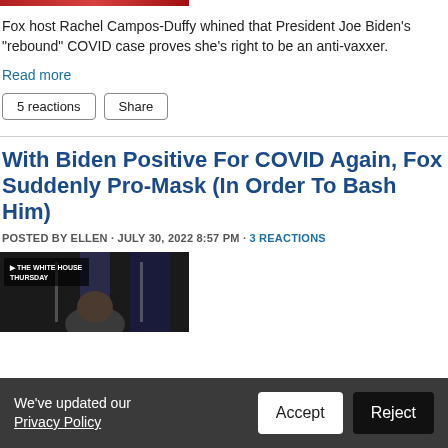[Figure (photo): Top banner image strip, partially visible, red tones]
Fox host Rachel Campos-Duffy whined that President Joe Biden's "rebound" COVID case proves she's right to be an anti-vaxxer.
Read more
5 reactions  Share
With Biden Positive For COVID Again, Fox Suddenly Pro-Mask (In Order To Bash Him)
POSTED BY ELLEN · JULY 30, 2022 8:57 PM · 3 REACTIONS
[Figure (screenshot): Video screenshot showing The White House Thursday chyron, person at podium with American flags]
We've updated our Privacy Policy  Accept  Reject